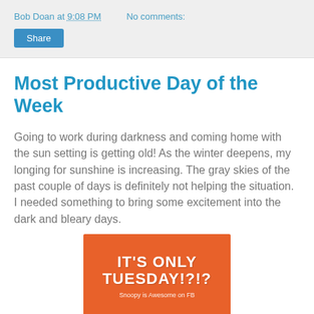Bob Doan at 9:08 PM    No comments:
Share
Most Productive Day of the Week
Going to work during darkness and coming home with the sun setting is getting old! As the winter deepens, my longing for sunshine is increasing. The gray skies of the past couple of days is definitely not helping the situation. I needed something to bring some excitement into the dark and bleary days.
[Figure (illustration): Orange card with bold white text reading 'IT'S ONLY TUESDAY!?!?' and smaller text 'Snoopy is Awesome on FB']